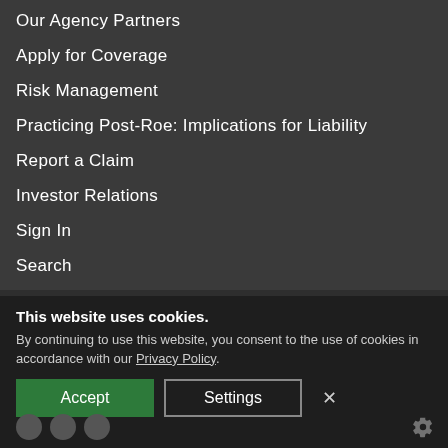Our Agency Partners
Apply for Coverage
Risk Management
Practicing Post-Roe: Implications for Liability
Report a Claim
Investor Relations
Sign In
Search
About Us
Contact Us
Careers
Legal Disclaimer
This website uses cookies. By continuing to use this website, you consent to the use of cookies in accordance with our Privacy Policy.